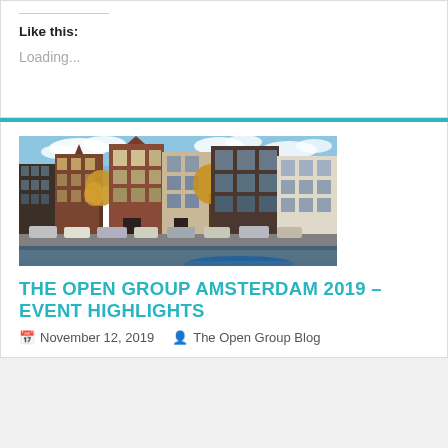Like this:
Loading...
[Figure (photo): Photograph of Amsterdam canal houses with historic brick buildings, autumn trees, and parked cars along the waterfront]
THE OPEN GROUP AMSTERDAM 2019 – EVENT HIGHLIGHTS
November 12, 2019   The Open Group Blog